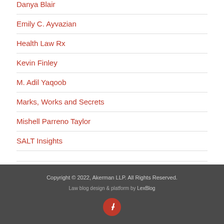Danya Blair
Emily C. Ayvazian
Health Law Rx
Kevin Finley
M. Adil Yaqoob
Marks, Works and Secrets
Mishell Parreno Taylor
SALT Insights
Copyright © 2022, Akerman LLP. All Rights Reserved. Law blog design & platform by LexBlog